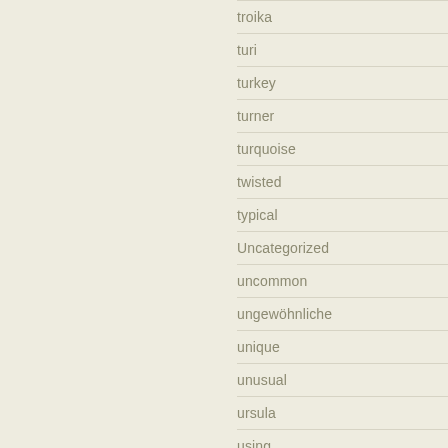troika
turi
turkey
turner
turquoise
twisted
typical
Uncategorized
uncommon
ungewöhnliche
unique
unusual
ursula
using
vase
vases